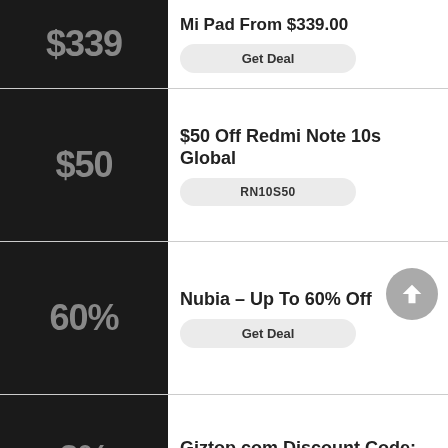$339
Mi Pad From $339.00
Get Deal
$50
$50 Off Redmi Note 10s Global
RN10S50
60%
Nubia - Up To 60% Off
Get Deal
2%
Giztop.com Discount Code: 2% Off Rog Phone 5s Pro